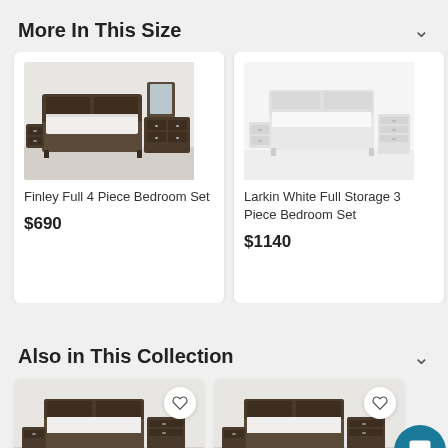More In This Size
[Figure (photo): Finley Full 4 Piece Bedroom Set - dark wood bed frame with headboard, two nightstands, and dresser with mirror]
Finley Full 4 Piece Bedroom Set
$690
[Figure (photo): Larkin White Full Storage 3 Piece Bedroom Set - white bed frame with two white nightstands]
Larkin White Full Storage 3 Piece Bedroom Set
$1140
[Figure (photo): Larkin Espresso Full Storage 3 Piece (partial view) - dark bed frame with nightstand]
Larkin Espr... Storage 3 P...
$1140
Also in This Collection
[Figure (photo): Dark wood bedroom set product card (partial bottom view)]
[Figure (photo): Dark wood bedroom set product card (partial bottom view, second item)]